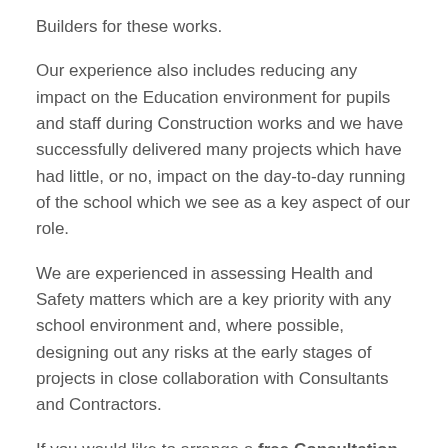Builders for these works.
Our experience also includes reducing any impact on the Education environment for pupils and staff during Construction works and we have successfully delivered many projects which have had little, or no, impact on the day-to-day running of the school which we see as a key aspect of our role.
We are experienced in assessing Health and Safety matters which are a key priority with any school environment and, where possible, designing out any risks at the early stages of projects in close collaboration with Consultants and Contractors.
If you would like to arrange a free Consultation to discuss your potential projects please contact us at our Oxford office 01865 955519 or our Cambridge office 01223 855906